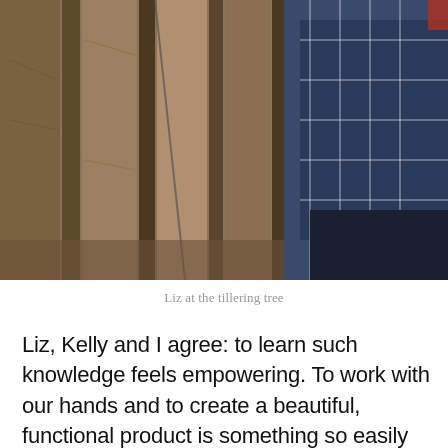[Figure (photo): A person in a blue plaid shirt working near vertical wooden planks and boards, likely inside a barn or workshop. A measuring tape or cord is visible along the wood. The scene is dimly lit with warm brown tones.]
Liz at the tillering tree
Liz, Kelly and I agree: to learn such knowledge feels empowering. To work with our hands and to create a beautiful, functional product is something so easily lost in today’s world of omnipresent technology and living life virtually. Steve and Corina’s homestead feels like a lovely haven, safe from pervasive iPhones and